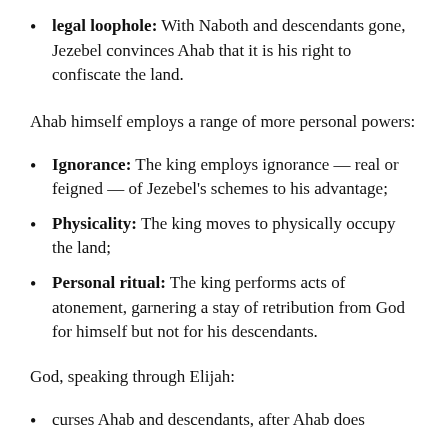legal loophole: With Naboth and descendants gone, Jezebel convinces Ahab that it is his right to confiscate the land.
Ahab himself employs a range of more personal powers:
Ignorance: The king employs ignorance — real or feigned — of Jezebel's schemes to his advantage;
Physicality: The king moves to physically occupy the land;
Personal ritual: The king performs acts of atonement, garnering a stay of retribution from God for himself but not for his descendants.
God, speaking through Elijah:
curses Ahab and descendants, after Ahab does